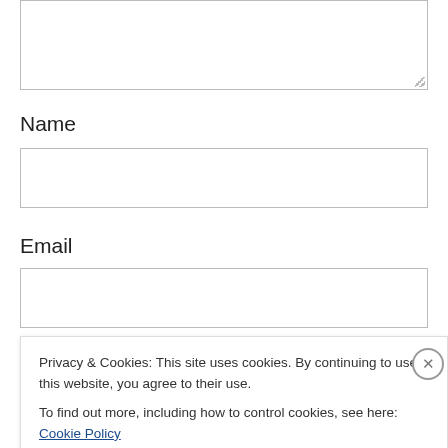Name
Email
Website
Privacy & Cookies: This site uses cookies. By continuing to use this website, you agree to their use.
To find out more, including how to control cookies, see here: Cookie Policy
Close and accept